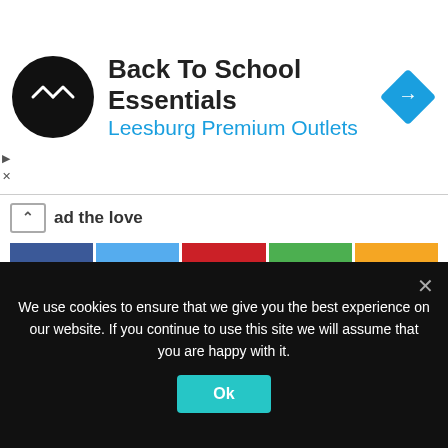[Figure (infographic): Ad banner for Back To School Essentials at Leesburg Premium Outlets with circular logo and navigation diamond icon]
Back To School Essentials
Leesburg Premium Outlets
ad the love
[Figure (infographic): Social share buttons: Facebook, Twitter, Pinterest, WhatsApp, and a plus button]
0
Shares
Shop Now
[Figure (screenshot): Amazon logo and two product images partially visible]
We use cookies to ensure that we give you the best experience on our website. If you continue to use this site we will assume that you are happy with it.